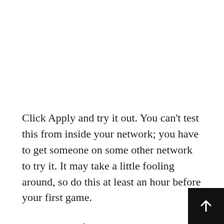Click Apply and try it out. You can't test this from inside your network; you have to get someone on some other network to try it. It may take a little fooling around, so do this at least an hour before your first game.
Now I will inflict some nerd humor on you. There are two basic packet protocols on the Internet, UDP and TCP. I could tell you the UDP joke, but you might not get it. I could tell you the TCP joke, but I'd have to ke